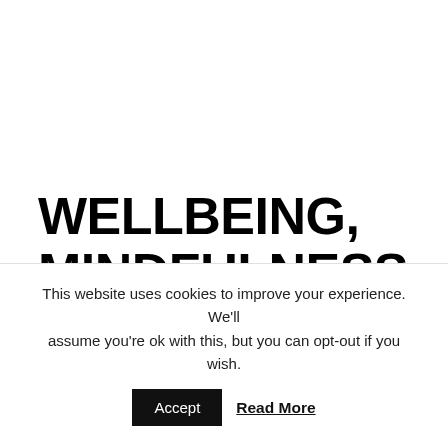WELLBEING, MINDFULNESS AND BUSINESS – THE NETWORKING EVENT
This website uses cookies to improve your experience. We'll assume you're ok with this, but you can opt-out if you wish.